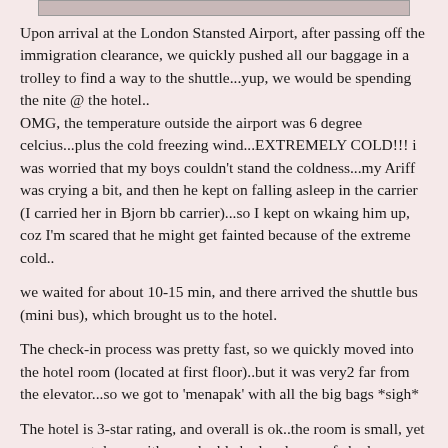[Figure (photo): Partial image visible at the top of the page, cropped]
Upon arrival at the London Stansted Airport, after passing off the immigration clearance, we quickly pushed all our baggage in a trolley to find a way to the shuttle...yup, we would be spending the nite @ the hotel..
OMG, the temperature outside the airport was 6 degree celcius...plus the cold freezing wind...EXTREMELY COLD!!! i was worried that my boys couldn't stand the coldness...my Ariff was crying a bit, and then he kept on falling asleep in the carrier (I carried her in Bjorn bb carrier)...so I kept on wkaing him up, coz I'm scared that he might get fainted because of the extreme cold..
we waited for about 10-15 min, and there arrived the shuttle bus (mini bus), which brought us to the hotel.
The check-in process was pretty fast, so we quickly moved into the hotel room (located at first floor)..but it was very2 far from the elevator...so we got to 'menapak' with all the big bags *sigh*
The hotel is 3-star rating, and overall is ok..the room is small, yet cozy...sweet deco, with one double bed and one sofa bed...o yess, the room is priced GBP 53 per nite ;)